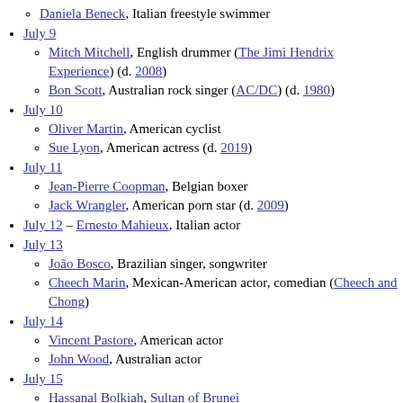Daniela Beneck, Italian freestyle swimmer
July 9
Mitch Mitchell, English drummer (The Jimi Hendrix Experience) (d. 2008)
Bon Scott, Australian rock singer (AC/DC) (d. 1980)
July 10
Oliver Martin, American cyclist
Sue Lyon, American actress (d. 2019)
July 11
Jean-Pierre Coopman, Belgian boxer
Jack Wrangler, American porn star (d. 2009)
July 12 – Ernesto Mahieux, Italian actor
July 13
João Bosco, Brazilian singer, songwriter
Cheech Marin, Mexican-American actor, comedian (Cheech and Chong)
July 14
Vincent Pastore, American actor
John Wood, Australian actor
July 15
Hassanal Bolkiah, Sultan of Brunei
Linda Ronstadt, American singer, songwriter ("You're No Good")
July 16
Toshio Furukawa, Japanese voice actor